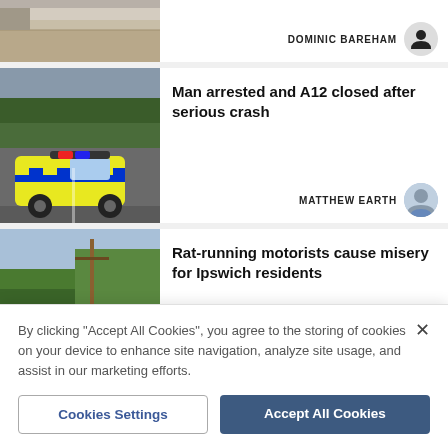[Figure (photo): Partial top article image showing beach or road surface]
DOMINIC BAREHAM
[Figure (photo): Police car with yellow and blue checker pattern on road, trees in background]
Man arrested and A12 closed after serious crash
MATTHEW EARTH
[Figure (photo): Residential street with hedges, trees, and telegraph pole]
Rat-running motorists cause misery for Ipswich residents
By clicking "Accept All Cookies", you agree to the storing of cookies on your device to enhance site navigation, analyze site usage, and assist in our marketing efforts.
Cookies Settings
Accept All Cookies